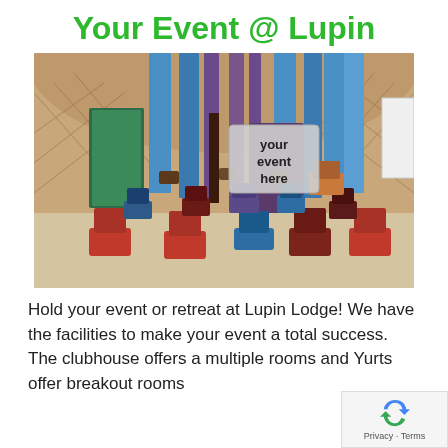Your Event @ Lupin
[Figure (photo): Interior of a yurt set up for an event with floor chairs arranged in a circle. Red and blue floor chairs/cushions surround the room. Colorful curtains hang in the background. A text overlay reads 'your event here'.]
Hold your event or retreat at Lupin Lodge! We have the facilities to make your event a total success. The clubhouse offers a multiple rooms and Yurts offer breakout rooms